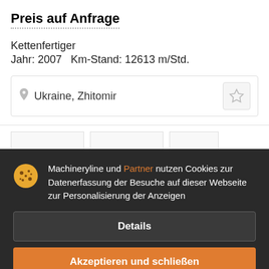Preis auf Anfrage
Kettenfertiger
Jahr: 2007   Km-Stand: 12613 m/Std.
Ukraine, Zhitomir
[Figure (screenshot): Cookie consent overlay on a machinery listing website (Machineryline). Shows cookie notice text, a Details button, and an Akzeptieren und schließen (Accept and close) button in orange.]
Machineryline und Partner nutzen Cookies zur Datenerfassung der Besuche auf dieser Webseite zur Personalisierung der Anzeigen
Details
Akzeptieren und schließen
AB 3 7820
61...
Ke...
Jahr: 2007   Km-Stand: 12155 m/Std.